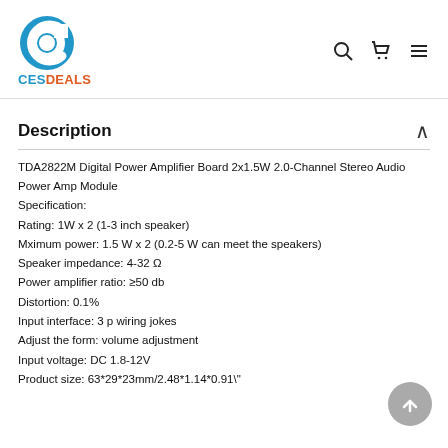[Figure (logo): CESDEALS logo with blue circular C icon and bicolor text: CES in blue, DEALS in orange]
Description
TDA2822M Digital Power Amplifier Board 2x1.5W 2.0-Channel Stereo Audio Power Amp Module
Specification:
Rating: 1W x 2 (1-3 inch speaker)
Mximum power: 1.5 W x 2 (0.2-5 W can meet the speakers)
Speaker impedance: 4-32 Ω
Power amplifier ratio: ≥50 db
Distortion: 0.1%
Input interface: 3 p wiring jokes
Adjust the form: volume adjustment
Input voltage: DC 1.8-12V
Product size: 63*29*23mm/2.48*1.14*0.91"